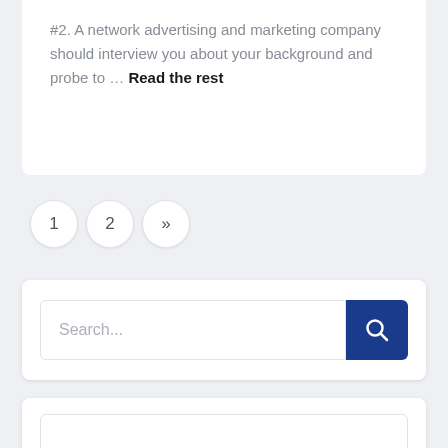#2. A network advertising and marketing company should interview you about your background and probe to … Read the rest
1
2
»
[Figure (screenshot): Search bar with placeholder text 'Search...' and a dark blue search button with magnifying glass icon]
[Figure (screenshot): Empty white input/text box inside a white card panel, with a circular dark blue scroll-to-top button in the bottom right corner]